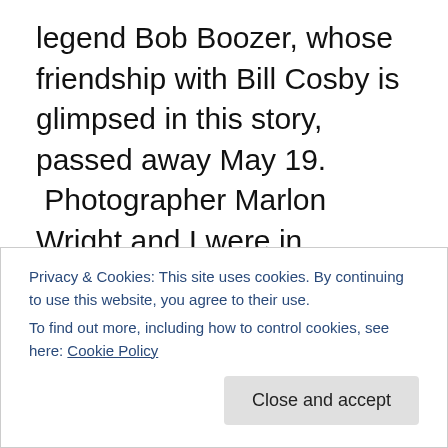legend Bob Boozer, whose friendship with Bill Cosby is glimpsed in this story, passed away May 19.  Photographer Marlon Wright and I were in Cosby's dressing room when Boozer appeared with a pie in hand for the comedian.  As my story explains, the two went way back, as did the tradition of Boozer bringing his friend the pie.  This blog also contains a profile I did of Boozer some years ago as part of my Omaha Black Sports Legends series, Out to Win: The Roots of Greatness.  For younger readers who may not know the Boozer name, he was one of the best college players ever and a very good pro.  He
Privacy & Cookies: This site uses cookies. By continuing to use this website, you agree to their use.
To find out more, including how to control cookies, see here: Cookie Policy